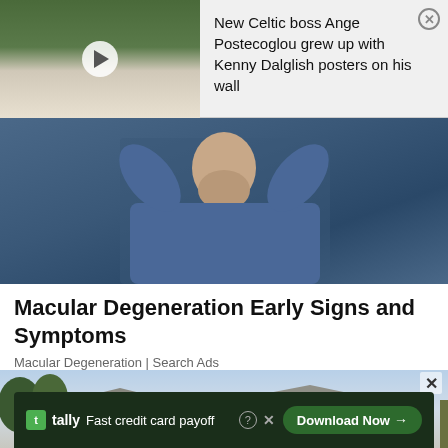[Figure (screenshot): Video thumbnail of a man in a white shirt sitting at a desk, with a play button overlay]
New Celtic boss Ange Postecoglou grew up with Kenny Dalglish posters on his wall
[Figure (photo): Man in a blue denim shirt scratching the back of his head]
Macular Degeneration Early Signs and Symptoms
Macular Degeneration | Search Ads
[Figure (photo): Large modern house with grey roof, stone and stucco exterior, surrounded by trees]
tally Fast credit card payoff
Download Now →